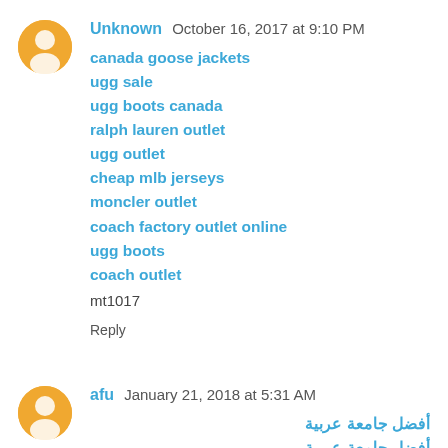Unknown  October 16, 2017 at 9:10 PM
canada goose jackets
ugg sale
ugg boots canada
ralph lauren outlet
ugg outlet
cheap mlb jerseys
moncler outlet
coach factory outlet online
ugg boots
coach outlet
mt1017
Reply
afu  January 21, 2018 at 5:31 AM
أفضل جامعة عربية
أفضل جامعة عربية
أفضل جامعة عربية
أفضل جامعة عربية